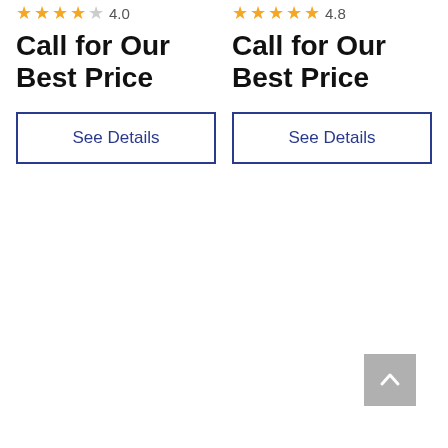★★★★☆ 4.0 (left product)
Call for Our Best Price (left product)
See Details (left product)
★★★★★ 4.8 (right product)
Call for Our Best Price (right product)
See Details (right product)
| OVERVIEW |
| SPECS |
| DOCUMENTS |
| DELIVERY |
| WARRANTY |